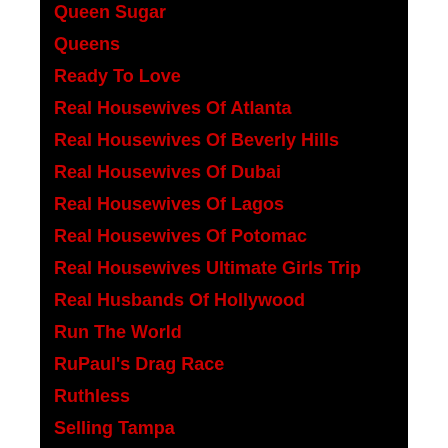Queen Sugar
Queens
Ready To Love
Real Housewives Of Atlanta
Real Housewives Of Beverly Hills
Real Housewives Of Dubai
Real Housewives Of Lagos
Real Housewives Of Potomac
Real Housewives Ultimate Girls Trip
Real Husbands Of Hollywood
Run The World
RuPaul's Drag Race
Ruthless
Selling Tampa
Sistas
Snowfall
Super Sized Salon